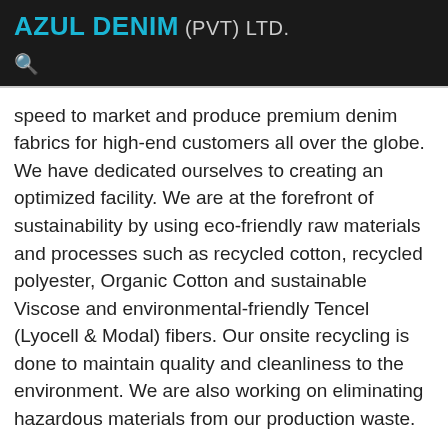AZUL DENIM (PVT) LTD.
speed to market and produce premium denim fabrics for high-end customers all over the globe. We have dedicated ourselves to creating an optimized facility. We are at the forefront of sustainability by using eco-friendly raw materials and processes such as recycled cotton, recycled polyester, Organic Cotton and sustainable Viscose and environmental-friendly Tencel (Lyocell & Modal) fibers. Our onsite recycling is done to maintain quality and cleanliness to the environment. We are also working on eliminating hazardous materials from our production waste.
Our Mission: To achieve and retain market leadership in Denim Fabrics Manufacturing by